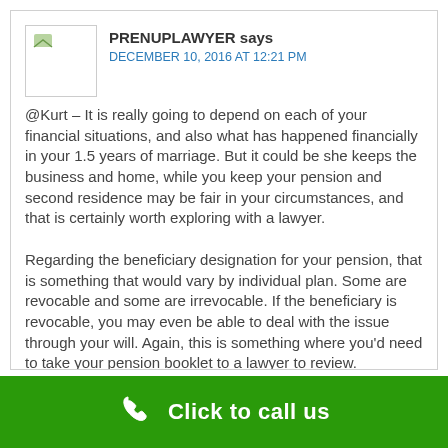PRENUPLAWYER says
DECEMBER 10, 2016 AT 12:21 PM
@Kurt – It is really going to depend on each of your financial situations, and also what has happened financially in your 1.5 years of marriage. But it could be she keeps the business and home, while you keep your pension and second residence may be fair in your circumstances, and that is certainly worth exploring with a lawyer.

Regarding the beneficiary designation for your pension, that is something that would vary by individual plan. Some are revocable and some are irrevocable. If the beneficiary is revocable, you may even be able to deal with the issue through your will. Again, this is something where you'd need to take your pension booklet to a lawyer to review.

No, a lawyer can't represent both of you, even if both of you agree on everything.
Click to call us